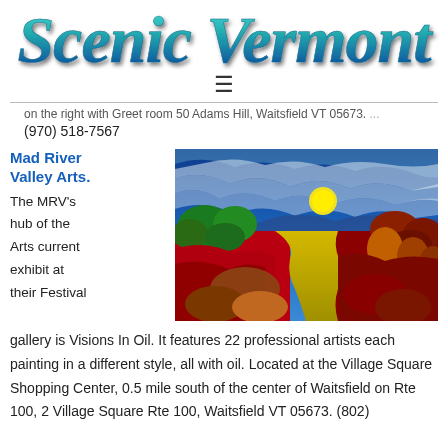Scenic Vermont
≡
...on the right with Greet room 50 Adams Hill, Waitsfield VT 05673.
(970) 518-7567
Mad River Valley Arts. The MRV's hub of the Arts current exhibit at their Festival
[Figure (photo): Colorful landscape painting in oil showing a river or path with yellow sun, red and green trees, dramatic blue sky with swirling clouds]
gallery is Visions In Oil. It features 22 professional artists each painting in a different style, all with oil. Located at the Village Square Shopping Center, 0.5 mile south of the center of Waitsfield on Rte 100, 2 Village Square Rte 100, Waitsfield VT 05673. (802)